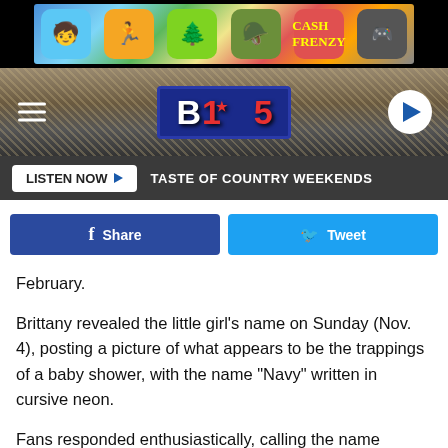[Figure (screenshot): Mobile game advertisement banner with colorful game icons]
[Figure (screenshot): B105 radio station header with logo and hamburger menu]
[Figure (screenshot): Listen Now bar with TASTE OF COUNTRY WEEKENDS text]
Share   Tweet
February.
Brittany revealed the little girl's name on Sunday (Nov. 4), posting a picture of what appears to be the trappings of a baby shower, with the name "Navy" written in cursive neon.
Fans responded enthusiastically, calling the name "pretty," "uniqu[e]... [via] post. [story continued]